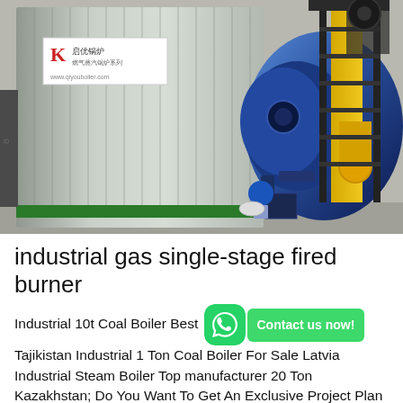[Figure (photo): Industrial gas single-stage fired burner mounted on a large metallic boiler unit. The boiler has a corrugated silver/grey steel body with a red and white Chinese manufacturer sign (K logo). A large blue circular burner head is attached to the right side. A yellow structural platform with black steel staircase is visible on the right. A blue valve is at the bottom center. The setting is an industrial facility floor.]
industrial gas single-stage fired burner
Industrial 10t Coal Boiler Best Tajikistan Industrial 1 Ton Coal Boiler For Sale Latvia Industrial Steam Boiler Top manufacturer 20 Ton Kazakhstan; Do You Want To Get An Exclusive Project Plan ? 7 * 24 * 365 endless service, cli...